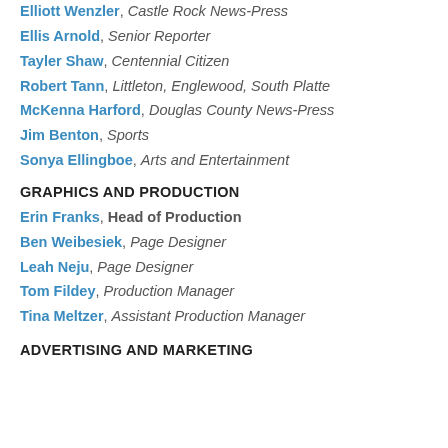Elliott Wenzler, Castle Rock News-Press
Ellis Arnold, Senior Reporter
Tayler Shaw, Centennial Citizen
Robert Tann, Littleton, Englewood, South Platte
McKenna Harford, Douglas County News-Press
Jim Benton, Sports
Sonya Ellingboe, Arts and Entertainment
GRAPHICS AND PRODUCTION
Erin Franks, Head of Production
Ben Weibesiek, Page Designer
Leah Neju, Page Designer
Tom Fildey, Production Manager
Tina Meltzer, Assistant Production Manager
ADVERTISING AND MARKETING